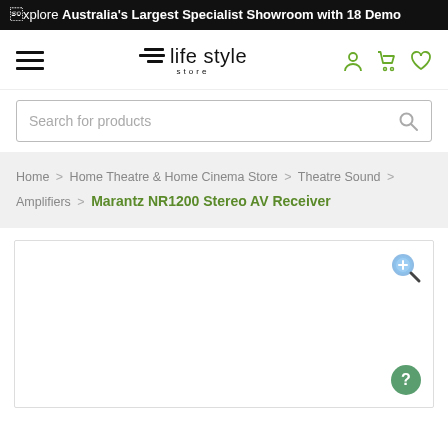Explore Australia's Largest Specialist Showroom with 18 Demo
[Figure (logo): Life Style Store logo with hamburger menu and nav icons (person, cart, heart)]
Search for products
Home > Home Theatre & Home Cinema Store > Theatre Sound > Amplifiers > Marantz NR1200 Stereo AV Receiver
[Figure (photo): Product image area for Marantz NR1200 Stereo AV Receiver, white/empty with zoom icon and help button]